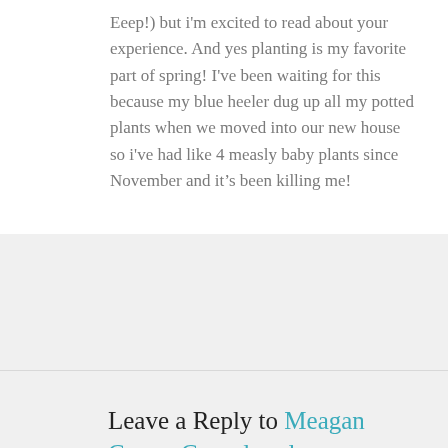Eeep!) but i'm excited to read about your experience. And yes planting is my favorite part of spring! I've been waiting for this because my blue heeler dug up all my potted plants when we moved into our new house so i've had like 4 measly baby plants since November and it's been killing me!
Leave a Reply to Meagan Crowe Cancel reply